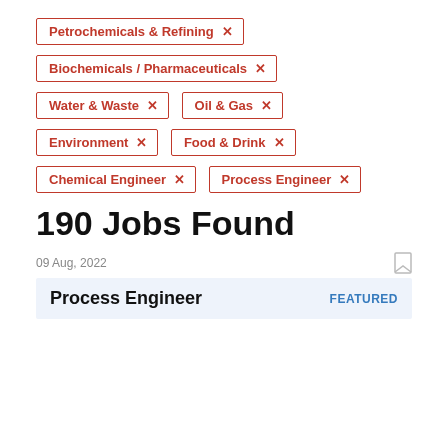Petrochemicals & Refining ×
Biochemicals / Pharmaceuticals ×
Water & Waste ×
Oil & Gas ×
Environment ×
Food & Drink ×
Chemical Engineer ×
Process Engineer ×
190 Jobs Found
09 Aug, 2022
Process Engineer   FEATURED